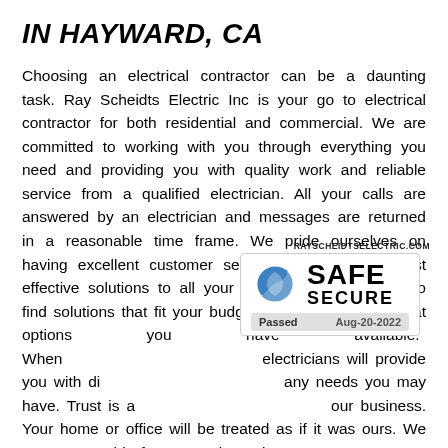IN HAYWARD, CA
Choosing an electrical contractor can be a daunting task. Ray Scheidts Electric Inc is your go to electrical contractor for both residential and commercial. We are committed to working with you through everything you need and providing you with quality work and reliable service from a qualified electrician. All your calls are answered by an electrician and messages are returned in a reasonable time frame. We pride ourselves on having excellent customer service combined with cost effective solutions to all your electric needs. We try to find solutions that fit your budget and let you know what options you have available. When electricians will provide you with di any needs you may have. Trust is a our business. Your home or office will be treated as if it was ours. We are accountable for our work, work
[Figure (logo): RAYSCHEIDTSELECTRIC.COM site security badge showing SAFE SECURE logo with blue swirl icon, Passed Aug-20-2022]